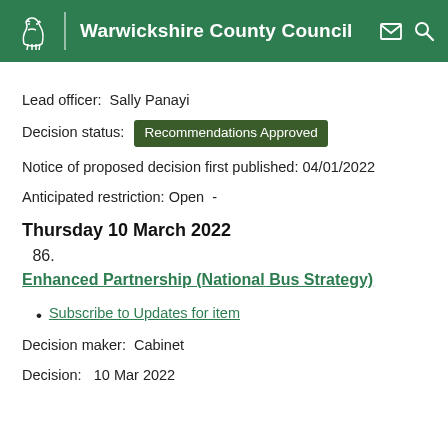Warwickshire County Council
Lead officer:  Sally Panayi
Decision status:  Recommendations Approved
Notice of proposed decision first published: 04/01/2022
Anticipated restriction: Open  -
Thursday 10 March 2022
86.
Enhanced Partnership (National Bus Strategy)
Subscribe to Updates for item
Decision maker:  Cabinet
Decision:   10 Mar 2022